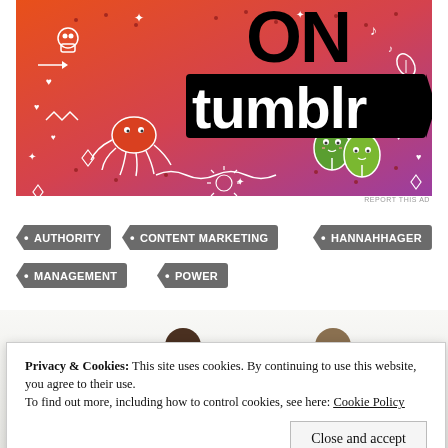[Figure (illustration): Tumblr advertisement with orange-to-purple gradient background, large black bold text reading 'ON tumblr', decorative doodle icons including a crab/octopus, leaf characters, skull, musical notes, hearts, arrows, and other whimsical illustrations in white and red]
REPORT THIS AD
• AUTHORITY
• CONTENT MARKETING
• HANNAHHAGER
• MANAGEMENT
• POWER
[Figure (photo): Partial photo showing two people from shoulders up, one with dark hair on left, one with lighter hair on right, against a light white/grey background with a red stripe at the bottom]
Privacy & Cookies: This site uses cookies. By continuing to use this website, you agree to their use.
To find out more, including how to control cookies, see here: Cookie Policy
Close and accept